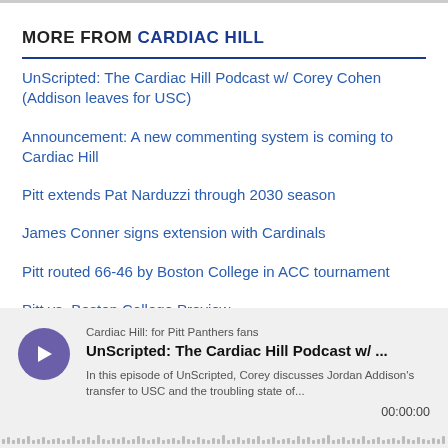MORE FROM CARDIAC HILL
UnScripted: The Cardiac Hill Podcast w/ Corey Cohen (Addison leaves for USC)
Announcement: A new commenting system is coming to Cardiac Hill
Pitt extends Pat Narduzzi through 2030 season
James Conner signs extension with Cardinals
Pitt routed 66-46 by Boston College in ACC tournament
Pitt vs. Boston College Preview
[Figure (other): Podcast widget showing Cardiac Hill: for Pitt Panthers fans, episode UnScripted: The Cardiac Hill Podcast w/ ... with description about Jordan Addison's transfer to USC, timestamp 00:00:00, waveform at bottom]